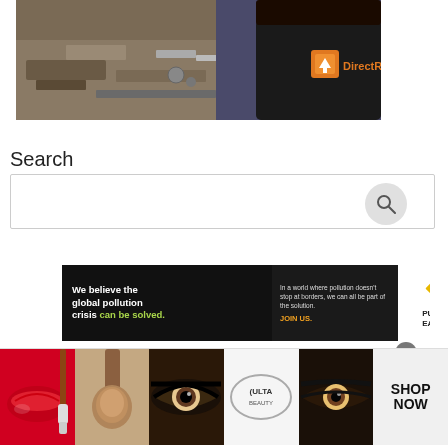[Figure (photo): Person wearing a black jacket with 'DirectR' logo in orange, standing in front of a pile of scrap/waste materials]
Search
[Figure (screenshot): Search input box with a circular search icon button on the right]
[Figure (infographic): Pure Earth advertisement banner: 'We believe the global pollution crisis can be solved.' with text 'In a world where pollution doesn't stop at borders, we can all be part of the solution. JOIN US.' and Pure Earth logo on white background]
[Figure (photo): Ulta Beauty advertisement bar showing closeup images of lips, makeup brush, eye, Ulta Beauty logo, eye makeup, with 'SHOP NOW' text]